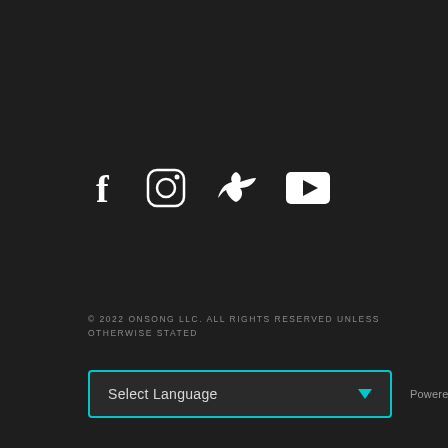[Figure (illustration): Social media icons: Facebook (f), Instagram (camera/circle), Twitter (bird), YouTube (play button) in white on dark background]
© 2022 ONSONG LLC. ALL RIGHTS RESERVED UNLESS OTHERWISE STATED
Select Language
Powered by Google TRANSLATE